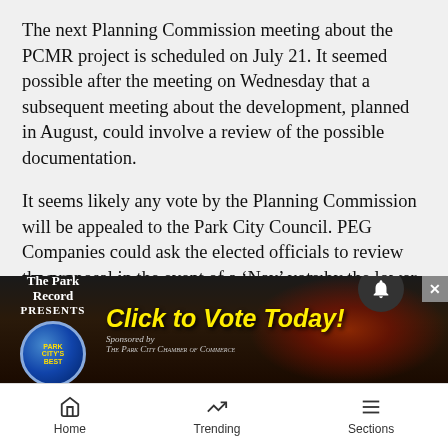The next Planning Commission meeting about the PCMR project is scheduled on July 21. It seemed possible after the meeting on Wednesday that a subsequent meeting about the development, planned in August, could involve a review of the possible documentation.
It seems likely any vote by the Planning Commission will be appealed to the Park City Council. PEG Companies could ask the elected officials to review the proposal in the event of a ‘Nay’ vote by the lower panel while the opposition to the project could ask the same should there be a ‘Yay’ vote by the Planning Commission.
PEG C[ompanies...] [with] the o[pposition...]...
[Figure (infographic): Advertisement banner: The Park Record PRESENTS with Park City's Best badge, 'Click to Vote Today!' in yellow italic text, Sponsored by The Park City Chamber of Commerce]
Home   Trending   Sections